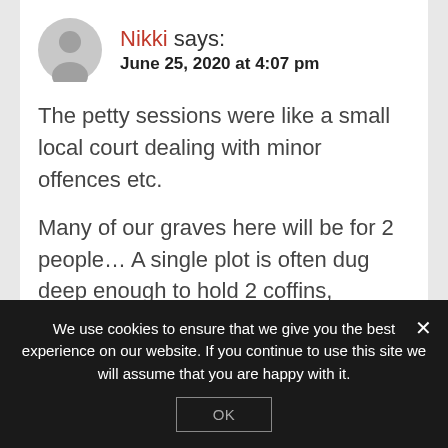[Figure (illustration): Generic grey user avatar icon (person silhouette in a circle)]
Nikki says:
June 25, 2020 at 4:07 pm
The petty sessions were like a small local court dealing with minor offences etc.
Many of our graves here will be for 2 people… A single plot is often dug deep enough to hold 2 coffins, although apparently you can have 3 in one plot. Sometimes there are family plots too, but
We use cookies to ensure that we give you the best experience on our website. If you continue to use this site we will assume that you are happy with it.